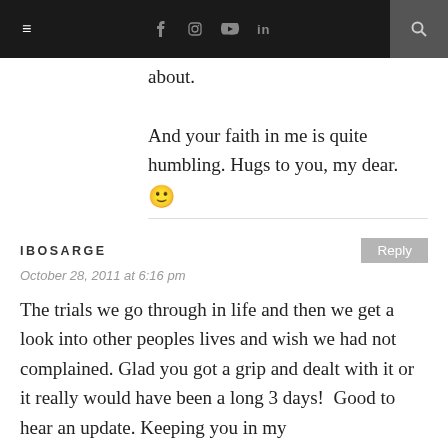Navigation bar with menu, social icons (f, Instagram, YouTube, in), and search
about.

And your faith in me is quite humbling. Hugs to you, my dear. 🙂
IBOSARGE
October 28, 2011 at 6:16 pm
The trials we go through in life and then we get a look into other peoples lives and wish we had not  complained. Glad you got a grip and dealt with it or it really would have been a long 3 days!  Good to hear an update. Keeping you in my